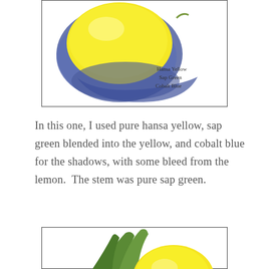[Figure (illustration): Watercolor painting of a lemon partially wrapped in blue shadow/background. Handwritten text in the lower right reads: Hansa Yellow, Sap Green, Cobalt Blue. Bordered with a thin black rectangle.]
In this one, I used pure hansa yellow, sap green blended into the yellow, and cobalt blue for the shadows, with some bleed from the lemon.  The stem was pure sap green.
[Figure (illustration): Watercolor painting of a lemon with green leaves/stem, partially visible at the bottom of the page. Bordered with a thin black rectangle.]